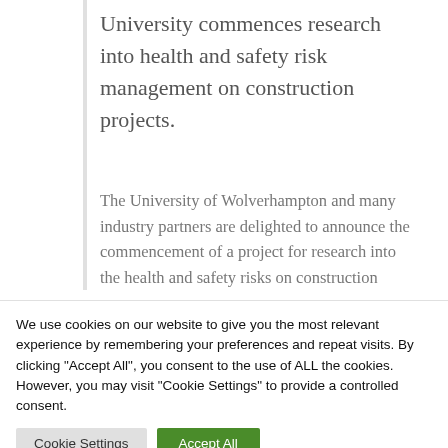University commences research into health and safety risk management on construction projects.
The University of Wolverhampton and many industry partners are delighted to announce the commencement of a project for research into the health and safety risks on construction projects and how they are most effectively managed at the pre-construction stages of projects. The
We use cookies on our website to give you the most relevant experience by remembering your preferences and repeat visits. By clicking "Accept All", you consent to the use of ALL the cookies. However, you may visit "Cookie Settings" to provide a controlled consent.